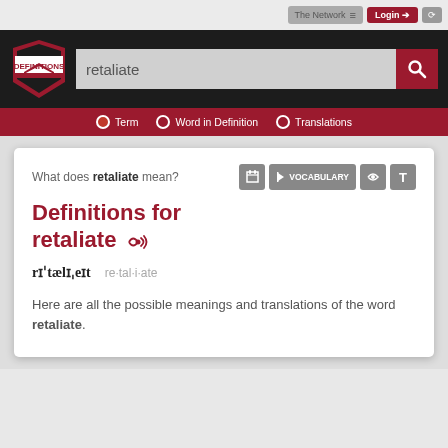The Network ≡   Login →   ⟳
[Figure (logo): Definitions.net shield logo with red and white styling]
retaliate
Term   Word in Definition   Translations
What does retaliate mean?
Definitions for retaliate 🔊
rɪˈtælɪˌeɪt   re·tal·i·ate
Here are all the possible meanings and translations of the word retaliate.